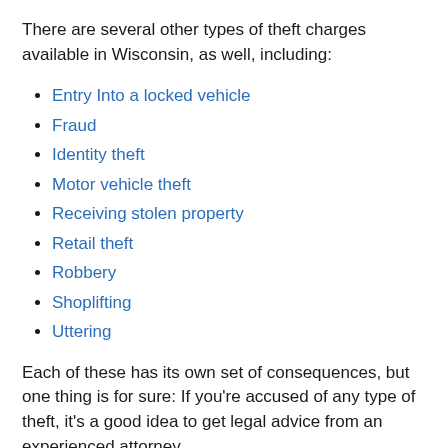There are several other types of theft charges available in Wisconsin, as well, including:
Entry Into a locked vehicle
Fraud
Identity theft
Motor vehicle theft
Receiving stolen property
Retail theft
Robbery
Shoplifting
Uttering
Each of these has its own set of consequences, but one thing is for sure: If you're accused of any type of theft, it's a good idea to get legal advice from an experienced attorney.
If you need to talk to a lawyer about theft charges, call